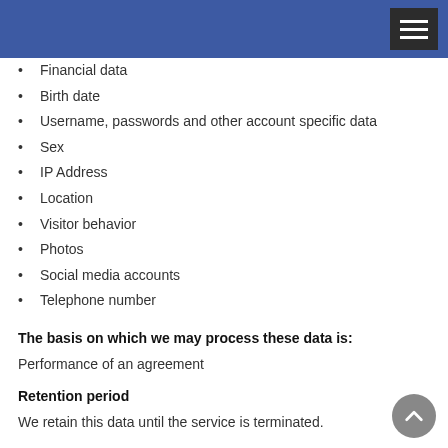Financial data
Birth date
Username, passwords and other account specific data
Sex
IP Address
Location
Visitor behavior
Photos
Social media accounts
Telephone number
The basis on which we may process these data is:
Performance of an agreement
Retention period
We retain this data until the service is terminated.